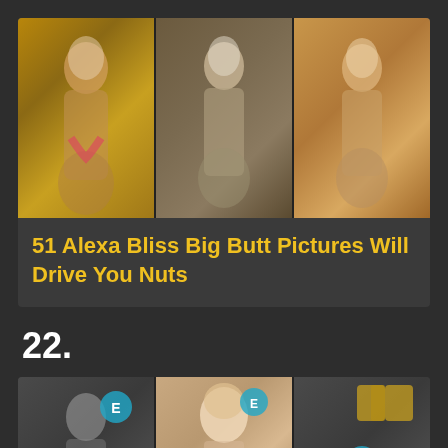[Figure (photo): Three women in bikinis posed side by side — a collage of three separate photos showing fitness/modeling poses]
51 Alexa Bliss Big Butt Pictures Will Drive You Nuts
22.
[Figure (photo): Three photos from what appears to be a BAFTA awards event — people posing on the red carpet with BAFTA logo visible in background]